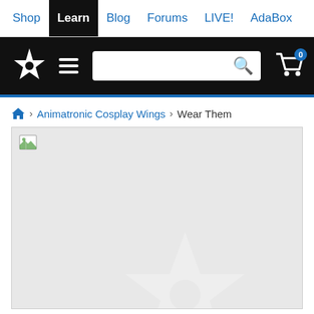Shop | Learn | Blog | Forums | LIVE! | AdaBox
[Figure (screenshot): Adafruit website header with logo, hamburger menu, search bar, and cart icon with badge showing 0]
Home > Animatronic Cosplay Wings > Wear Them
[Figure (photo): Loading image placeholder with broken image icon and Adafruit watermark star logo on light grey background]